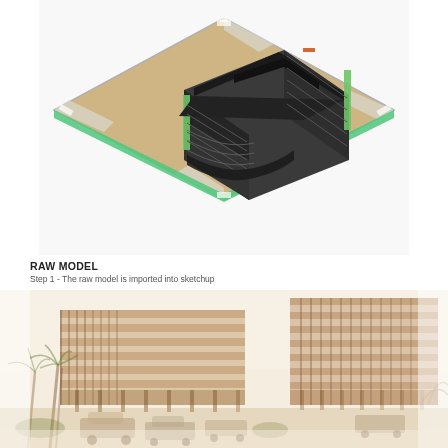[Figure (illustration): 3D isometric view of a building raw model rendered in SketchUp, showing a multi-story commercial building with green accent panels, dark roof, curved facade at the front, set on a tan/sandy site with white parking areas and a green stripe along the bottom edge.]
RAW MODEL
Step 1 - The raw model is imported into sketchup
[Figure (illustration): Architectural rendering/sketch of a modern multi-story commercial building in sepia/warm tones, showing the street-level perspective with palm trees, parked cars, horizontal facade elements, and a colonnade at ground level.]